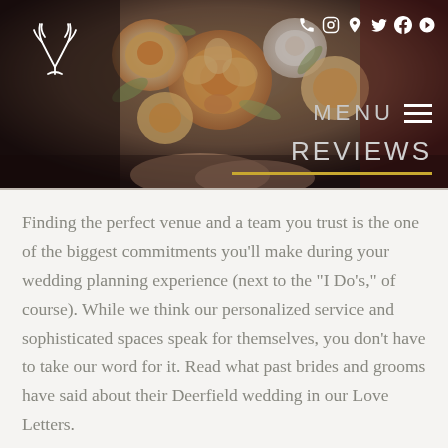[Figure (photo): Wedding bouquet with peach and white roses held by bride's hands, dark moody header with navigation overlaid]
MENU  REVIEWS
Finding the perfect venue and a team you trust is the one of the biggest commitments you'll make during your wedding planning experience (next to the "I Do's," of course). While we think our personalized service and sophisticated spaces speak for themselves, you don't have to take our word for it. Read what past brides and grooms have said about their Deerfield wedding in our Love Letters.